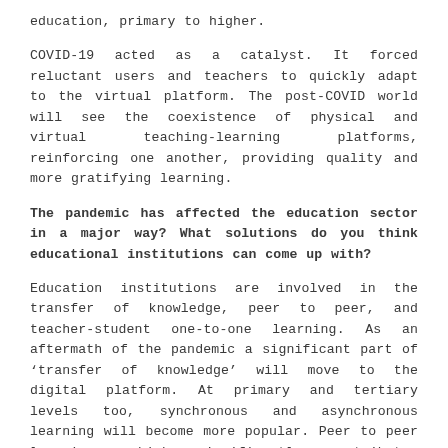education, primary to higher.
COVID-19 acted as a catalyst. It forced reluctant users and teachers to quickly adapt to the virtual platform. The post-COVID world will see the coexistence of physical and virtual teaching-learning platforms, reinforcing one another, providing quality and more gratifying learning.
The pandemic has affected the education sector in a major way? What solutions do you think educational institutions can come up with?
Education institutions are involved in the transfer of knowledge, peer to peer, and teacher-student one-to-one learning. As an aftermath of the pandemic a significant part of ‘transfer of knowledge’ will move to the digital platform. At primary and tertiary levels too, synchronous and asynchronous learning will become more popular. Peer to peer learning, which significantly contributes towards enhancing soft skills and faculty-student one-to-one interaction will still require a physical environment.
What are you doing to stay ahead and re-visualize your institution?